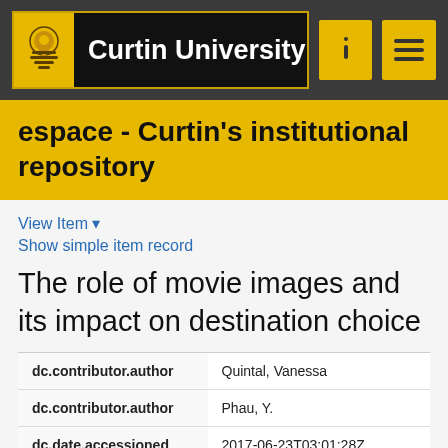Curtin University
espace - Curtin's institutional repository
View Item ▾
Show simple item record
The role of movie images and its impact on destination choice
| Field | Value |
| --- | --- |
| dc.contributor.author | Quintal, Vanessa |
| dc.contributor.author | Phau, Y. |
| dc.date.accessioned | 2017-06-23T03:01:28Z |